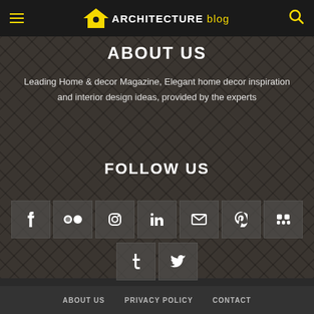ARCHITECTURE blog
ABOUT US
Leading Home & decor Magazine, Elegant home decor inspiration and interior design ideas, provided by the experts
FOLLOW US
[Figure (infographic): Social media icons: Facebook, Flickr, Instagram, LinkedIn, Email, Pinterest, Mix, Tumblr, Twitter]
ABOUT US  PRIVACY POLICY  CONTACT